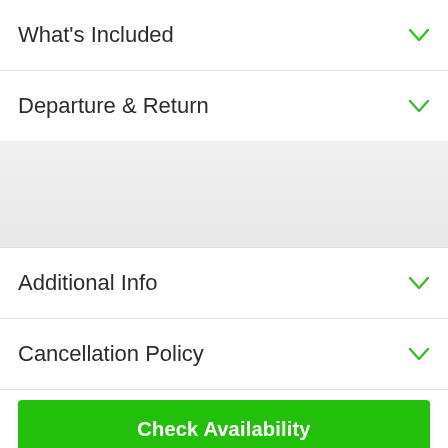What's Included
Departure & Return
[Figure (map): Map placeholder showing a grey/light area for location display]
Additional Info
Cancellation Policy
Check Availability